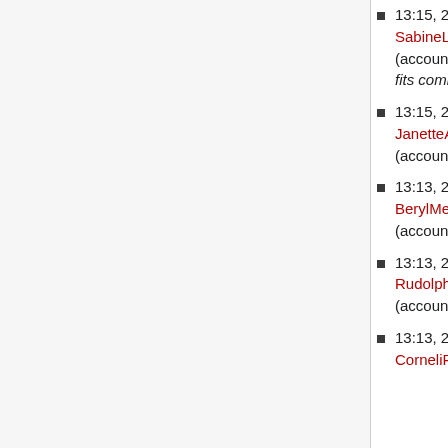13:15, 29 April 2014 JonGreen (Talk | contribs) blocked SabineLODO (Talk | contribs) with an expiry time of indefinite (account creation disabled) (Unacceptable username: Name fits common spammer pattern)
13:15, 29 April 2014 JonGreen (Talk | contribs) blocked JanetteAMQA (Talk | contribs) with an expiry time of indefinite (account creation disabled) (Spamming links to external sites)
13:13, 29 April 2014 JonGreen (Talk | contribs) blocked BerylMetters (Talk | contribs) with an expiry time of indefinite (account creation disabled) (Spamming links to external sites)
13:13, 29 April 2014 JonGreen (Talk | contribs) blocked RudolphBreeze (Talk | contribs) with an expiry time of indefinite (account creation disabled) (suspected spam user)
13:13, 29 April 2014 JonGreen (Talk | contribs) blocked CorneliPLVG (Talk |